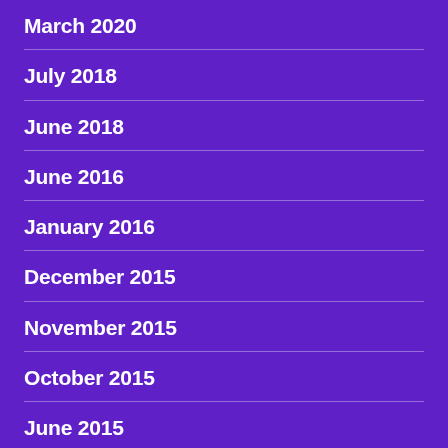March 2020
July 2018
June 2018
June 2016
January 2016
December 2015
November 2015
October 2015
June 2015